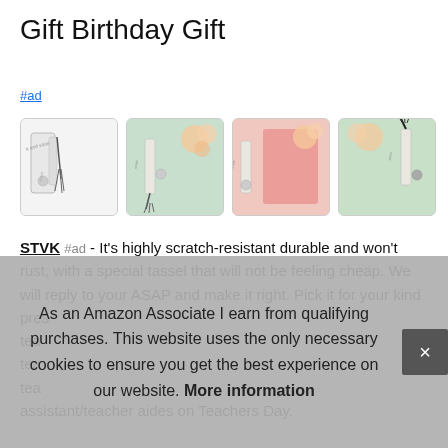Gift Birthday Gift
#ad
[Figure (photo): Four product images showing metal bookmarks with tassels on various colored backgrounds (white, mint green, pink, mint green)]
STVK #ad - It's highly scratch-resistant durable and won't rust, with a special tassel that will not be feeling cheap. We will reply to your ASAP and make it right. Pick it for your kind present, teacher appreciation gift, teacher gift, teaching teacher gift, teacher gift, assistant/teacher aides on Teachers Day.
As an Amazon Associate I earn from qualifying purchases. This website uses the only necessary cookies to ensure you get the best experience on our website. More information